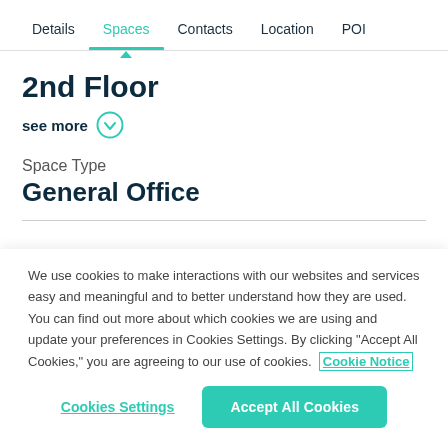Details  Spaces  Contacts  Location  POI
2nd Floor
see more
Space Type
General Office
We use cookies to make interactions with our websites and services easy and meaningful and to better understand how they are used. You can find out more about which cookies we are using and update your preferences in Cookies Settings. By clicking "Accept All Cookies," you are agreeing to our use of cookies.  Cookie Notice
Cookies Settings
Accept All Cookies